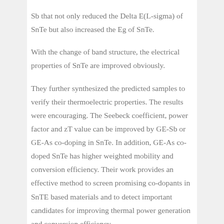Sb that not only reduced the Delta E(L-sigma) of SnTe but also increased the Eg of SnTe.
With the change of band structure, the electrical properties of SnTe are improved obviously.
They further synthesized the predicted samples to verify their thermoelectric properties. The results were encouraging. The Seebeck coefficient, power factor and zT value can be improved by GE-Sb or GE-As co-doping in SnTe. In addition, GE-As co-doped SnTe has higher weighted mobility and conversion efficiency. Their work provides an effective method to screen promising co-dopants in SnTE based materials and to detect important candidates for improving thermal power generation and conversion efficiency.